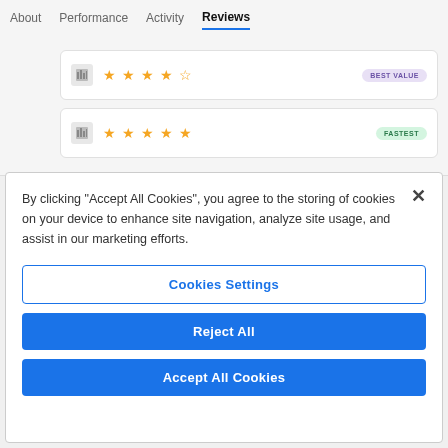About  Performance  Activity  Reviews
[Figure (screenshot): Two rating cards with star ratings. First card shows 4.5 orange stars with a purple 'BEST VALUE' badge. Second card shows 5 orange stars with a green 'FASTEST' badge.]
By clicking “Accept All Cookies”, you agree to the storing of cookies on your device to enhance site navigation, analyze site usage, and assist in our marketing efforts.
Cookies Settings
Reject All
Accept All Cookies